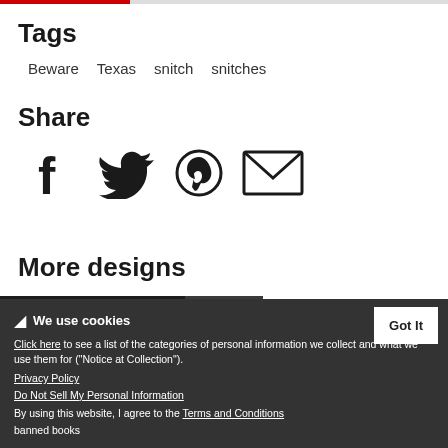Tags
Beware   Texas   snitch   snitches
Share
[Figure (infographic): Social share icons: Facebook, Twitter, Pinterest, Email]
More designs
[Figure (infographic): Cookie consent notice with Rebel Books design card and Don't mess with us Texas design card]
We use cookies
Click here to see a list of the categories of personal information we collect and what we use them for ("Notice at Collection").
Privacy Policy
Do Not Sell My Personal Information
By using this website, I agree to the Terms and Conditions
banned books
Don't mess with us Texas